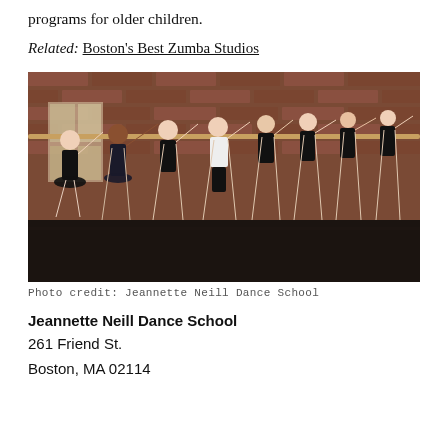programs for older children.
Related: Boston's Best Zumba Studios
[Figure (photo): Children in black leotards and one in a white shirt performing a ballet barre exercise in a dance studio with brick walls. Photo credit: Jeannette Neill Dance School]
Photo credit: Jeannette Neill Dance School
Jeannette Neill Dance School
261 Friend St.
Boston, MA 02114